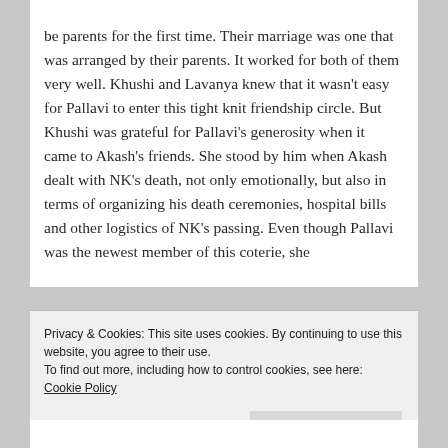be parents for the first time. Their marriage was one that was arranged by their parents. It worked for both of them very well. Khushi and Lavanya knew that it wasn't easy for Pallavi to enter this tight knit friendship circle. But Khushi was grateful for Pallavi's generosity when it came to Akash's friends. She stood by him when Akash dealt with NK's death, not only emotionally, but also in terms of organizing his death ceremonies, hospital bills and other logistics of NK's passing. Even though Pallavi was the newest member of this coterie, she
Privacy & Cookies: This site uses cookies. By continuing to use this website, you agree to their use.
To find out more, including how to control cookies, see here: Cookie Policy
Close and accept